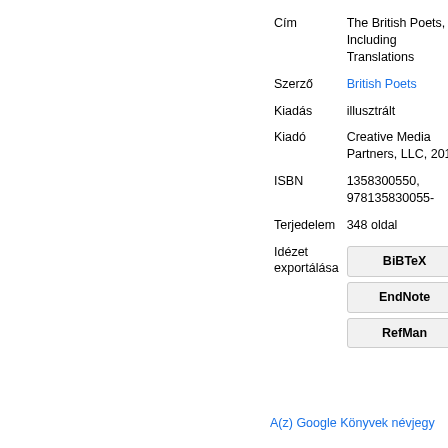| Field | Value |
| --- | --- |
| Cím | The British Poets, Including Translations |
| Szerző | British Poets |
| Kiadás | illusztrált |
| Kiadó | Creative Media Partners, LLC, 2016 |
| ISBN | 1358300550, 978135830055- |
| Terjedelem | 348 oldal |
| Idézet exportálása | BiBTeX / EndNote / RefMan |
A(z) Google Könyvek névjegy